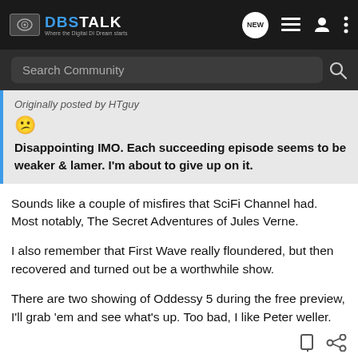DBSTALK - Where the Digital DI Dream starts
Search Community
Originally posted by HTguy
😕
Disappointing IMO. Each succeeding episode seems to be weaker & lamer. I'm about to give up on it.
Sounds like a couple of misfires that SciFi Channel had. Most notably, The Secret Adventures of Jules Verne.
I also remember that First Wave really floundered, but then recovered and turned out be a worthwhile show.
There are two showing of Oddessy 5 during the free preview, I'll grab 'em and see what's up. Too bad, I like Peter weller.